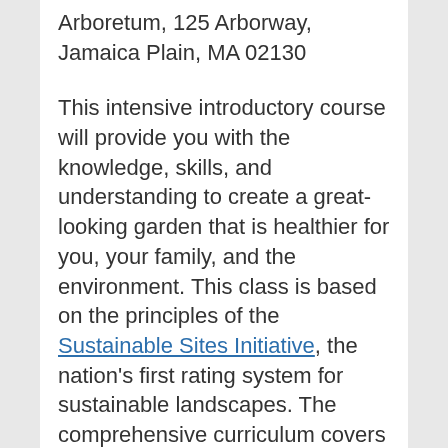Arboretum, 125 Arborway, Jamaica Plain, MA 02130
This intensive introductory course will provide you with the knowledge, skills, and understanding to create a great-looking garden that is healthier for you, your family, and the environment. This class is based on the principles of the Sustainable Sites Initiative, the nation's first rating system for sustainable landscapes. The comprehensive curriculum covers a range of topics, including soils, water, plants, and